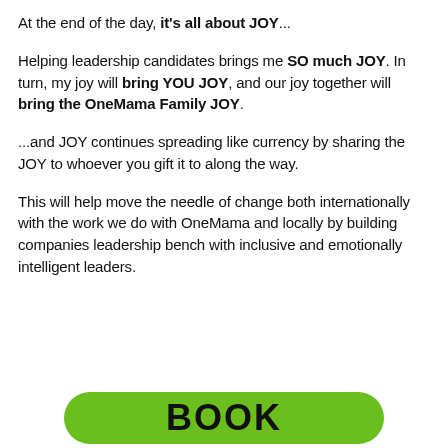At the end of the day, it's all about JOY...
Helping leadership candidates brings me SO much JOY. In turn, my joy will bring YOU JOY, and our joy together will bring the OneMama Family JOY.
...and JOY continues spreading like currency by sharing the JOY to whoever you gift it to along the way.
This will help move the needle of change both internationally with the work we do with OneMama and locally by building companies leadership bench with inclusive and emotionally intelligent leaders.
[Figure (other): Green rounded button with text BOOK]